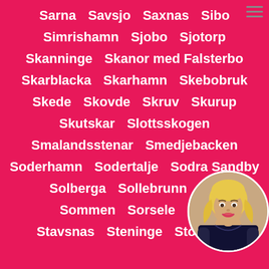Sarna   Savsjo   Saxnas   Sibo
Simrishamn   Sjobo   Sjotorp
Skanninge   Skanor med Falsterbo
Skarblacka   Skarhamn   Skebobruk
Skede   Skovde   Skruv   Skurup
Skutskar   Slottsskogen
Smalandsstenar   Smedjebacken
Soderhamn   Sodertalje   Sodra Sandby
Solberga   Sollebrunn   Sol...
Sommen   Sorsele   Sor...
Stavsnas   Steninge   Storvreta
[Figure (photo): Circular profile photo of a blonde woman in a black outfit, positioned at bottom right corner]